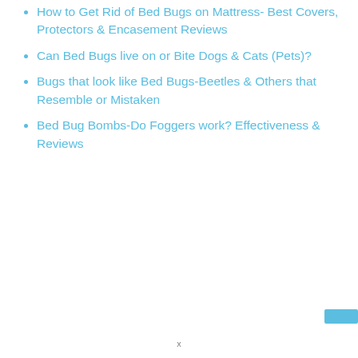How to Get Rid of Bed Bugs on Mattress- Best Covers, Protectors & Encasement Reviews
Can Bed Bugs live on or Bite Dogs & Cats (Pets)?
Bugs that look like Bed Bugs-Beetles & Others that Resemble or Mistaken
Bed Bug Bombs-Do Foggers work? Effectiveness & Reviews